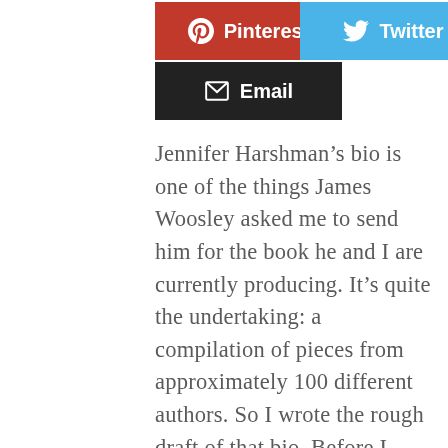[Figure (other): Pinterest share button (red background, Pinterest logo icon, white text)]
[Figure (other): Twitter share button (blue background, Twitter bird icon, white text)]
[Figure (other): Email share button (dark/black background, envelope icon, white text)]
Jennifer Harshman’s bio is one of the things James Woosley asked me to send him for the book he and I are currently producing. It’s quite the undertaking: a compilation of pieces from approximately 100 different authors. So I wrote the rough draft of that bio. Before I share that piece with you, I’d like to reveal some vulnerability, because writers need to be reminded that they are not alone in